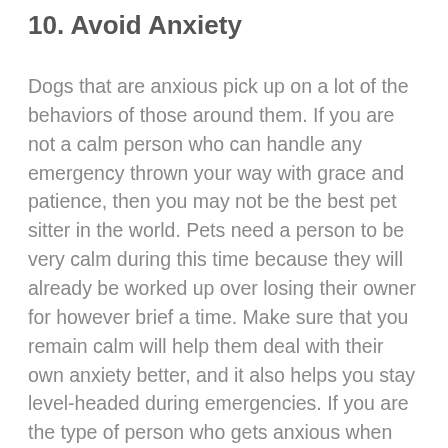10. Avoid Anxiety
Dogs that are anxious pick up on a lot of the behaviors of those around them. If you are not a calm person who can handle any emergency thrown your way with grace and patience, then you may not be the best pet sitter in the world. Pets need a person to be very calm during this time because they will already be worked up over losing their owner for however brief a time. Make sure that you remain calm will help them deal with their own anxiety better, and it also helps you stay level-headed during emergencies. If you are the type of person who gets anxious when emergencies arise, consider that pet sitting may not be the best option for you. Having a very detailed emergency plan regarding vet care, unexpected costs, runaways,